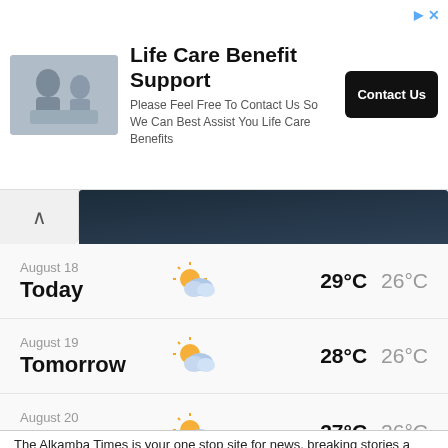[Figure (other): Advertisement banner: Life Care Benefit Support with photo of people at laptop, Contact Us button]
Life Care Benefit Support
Please Feel Free To Contact Us So We Can Best Assist You Life Care Benefits
[Figure (other): Weather widget showing 3-day forecast for August 18-20 with partly cloudy sun icons and temperatures]
August 18
Today
29°C  26°C
August 19
Tomorrow
28°C  26°C
August 20
Saturday
27°C  26°C
[Figure (logo): The Alkamba Times logo with tree silhouette on orange/gold sun circle, dark purple background]
The Alkamba Times is your one stop site for news, breaking stories a